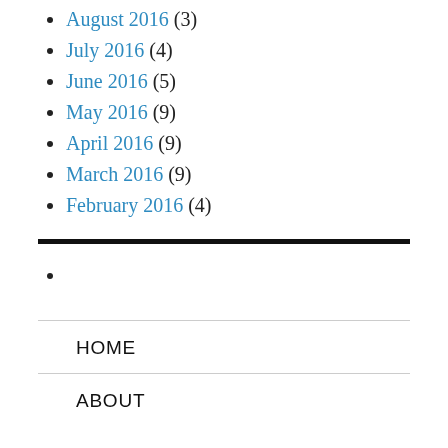August 2016 (3)
July 2016 (4)
June 2016 (5)
May 2016 (9)
April 2016 (9)
March 2016 (9)
February 2016 (4)
HOME
ABOUT